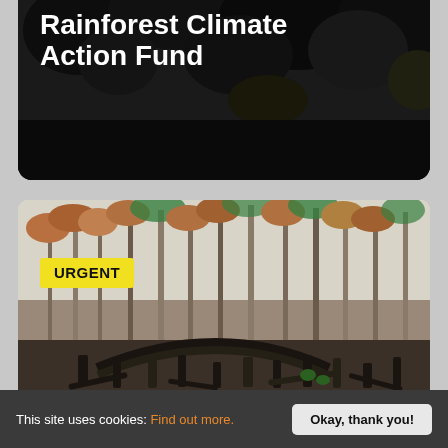Rainforest Climate Action Fund
[Figure (photo): Deforested rainforest with charred and fallen trees, bare stumps, and a few remaining standing trees with brown/dead foliage against a pale sky. 'URGENT' badge overlaid on upper left.]
This site uses cookies: Find out more. Okay, thank you!